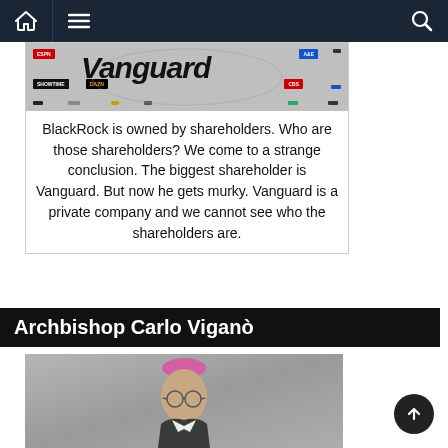Navigation bar with home, menu, and search icons
[Figure (screenshot): Image showing Vanguard logo/text with various media channel logos around it (ESPN, DAZN, Showtime, A&E, etc.) on a grey background]
BlackRock is owned by shareholders. Who are those shareholders? We come to a strange conclusion. The biggest shareholder is Vanguard. But now he gets murky. Vanguard is a private company and we cannot see who the shareholders are.
Archbishop Carlo Viganò
[Figure (photo): Photo of Archbishop Carlo Viganò wearing a pink/magenta bishop's skullcap and glasses, in a suit, grey background]